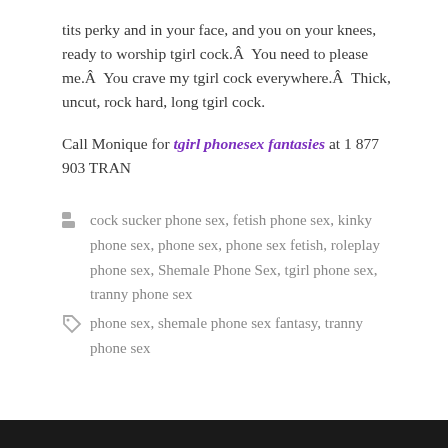tits perky and in your face, and you on your knees, ready to worship tgirl cock.Â  You need to please me.Â  You crave my tgirl cock everywhere.Â  Thick, uncut, rock hard, long tgirl cock.
Call Monique for tgirl phonesex fantasies at 1 877 903 TRAN
cock sucker phone sex, fetish phone sex, kinky phone sex, phone sex, phone sex fetish, roleplay phone sex, Shemale Phone Sex, tgirl phone sex, tranny phone sex
phone sex, shemale phone sex fantasy, tranny phone sex